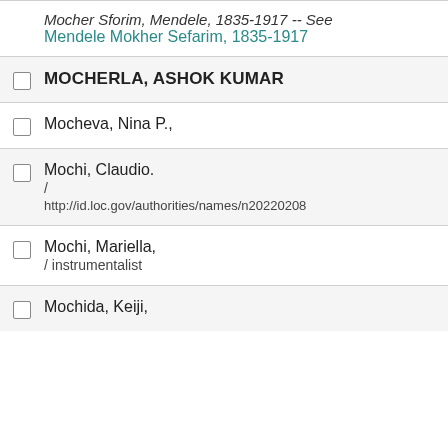Mocher Sforim, Mendele, 1835-1917 -- See Mendele Mokher Sefarim, 1835-1917
MOCHERLA, ASHOK KUMAR
Mocheva, Nina P.,
Mochi, Claudio. / http://id.loc.gov/authorities/names/n20220208
Mochi, Mariella, / instrumentalist
Mochida, Keiji,